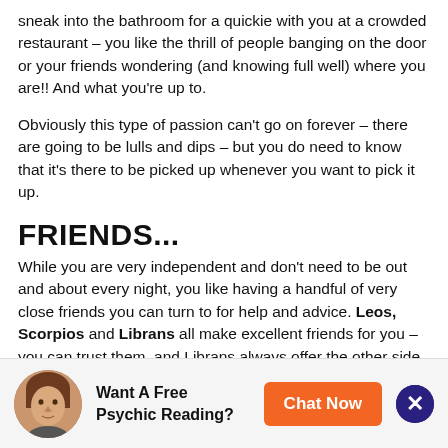sneak into the bathroom for a quickie with you at a crowded restaurant – you like the thrill of people banging on the door or your friends wondering (and knowing full well) where you are!! And what you're up to.
Obviously this type of passion can't go on forever – there are going to be lulls and dips – but you do need to know that it's there to be picked up whenever you want to pick it up.
FRIENDS...
While you are very independent and don't need to be out and about every night, you like having a handful of very close friends you can turn to for help and advice. Leos, Scorpios and Librans all make excellent friends for you – you can trust them, and Librans always offer the other side of the coin for you and show you where you might have
[Figure (other): Advertisement banner with a circular photo of a woman, bold text 'Want A Free Psychic Reading?', an orange 'Chat Now' button, and a dark blue close (X) button.]